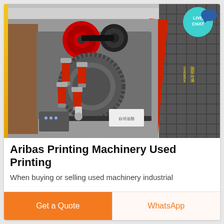[Figure (photo): Industrial printing machinery with red and grey mechanical components, drive belts, cylinders, and a red banner with Chinese text visible on the right side. A LIVE CHAT badge appears in the top-right corner of the image.]
Aribas Printing Machinery Used Printing
When buying or selling used machinery industrial
Get a Quote
WhatsApp